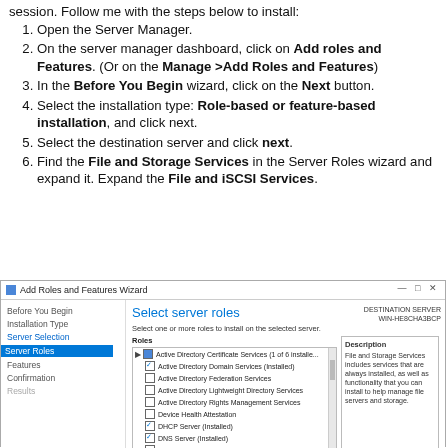session. Follow me with the steps below to install:
Open the Server Manager.
On the server manager dashboard, click on Add roles and Features. (Or on the Manage >Add Roles and Features)
In the Before You Begin wizard, click on the Next button.
Select the installation type: Role-based or feature-based installation, and click next.
Select the destination server and click next.
Find the File and Storage Services in the Server Roles wizard and expand it. Expand the File and iSCSI Services.
[Figure (screenshot): Add Roles and Features Wizard screenshot showing 'Select server roles' panel with Server Roles highlighted in the left navigation. The roles list shows various Active Directory services, DHCP Server, DNS Server, Fax Server, and File and Storage Services (2 of 12 installed) highlighted with a red box, with sub-items File and iSCSI Services (1 of 11 installed) and File Server (Installed) visible. Description panel on right explains File and Storage Services.]